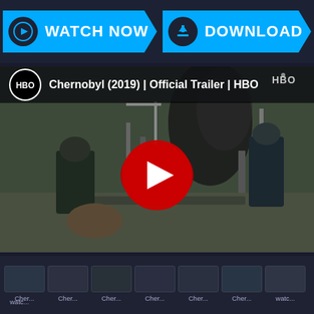[Figure (screenshot): Watch Now button with play icon and arrow chevron shape, blue background]
[Figure (screenshot): Download button with download icon and arrow chevron shape, blue background]
[Figure (screenshot): YouTube video thumbnail for Chernobyl (2019) Official Trailer HBO, showing two men looking at nuclear plant with smoke, red YouTube play button overlay, HBO logo in corner]
[Figure (screenshot): Row of small video thumbnails labeled Cher... and watc...]